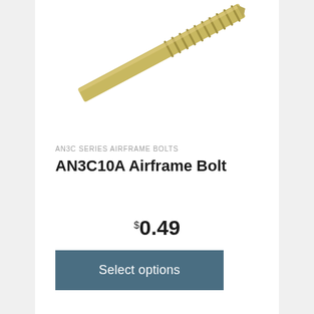[Figure (photo): Close-up photo of a gold/brass threaded airframe bolt (AN3C10A) showing the threaded shaft portion against a white background]
AN3C SERIES AIRFRAME BOLTS
AN3C10A Airframe Bolt
$0.49
Select options